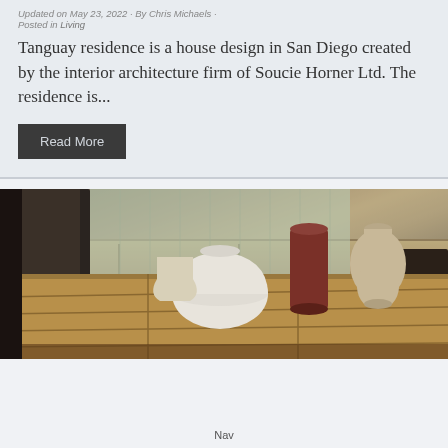Updated on May 23, 2022 · By Chris Michaels · Posted in Living
Tanguay residence is a house design in San Diego created by the interior architecture firm of Soucie Horner Ltd. The residence is...
Read More
[Figure (photo): Close-up photo of a wooden dining table with ceramic decorative objects (white dome-shaped, dark red cylindrical, and beige rounded vases) on the surface, with dark upholstered chairs visible in the background and window light coming through.]
Nav